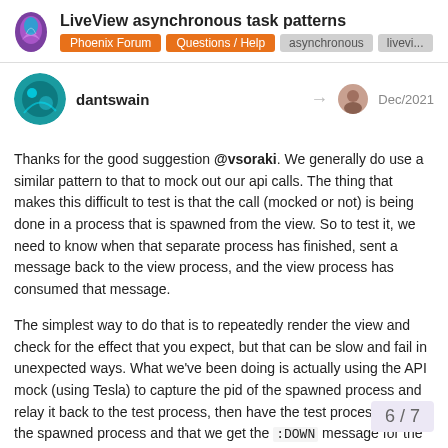LiveView asynchronous task patterns | Phoenix Forum | Questions / Help | asynchronous | livevi...
dantswain   Dec/2021
Thanks for the good suggestion @vsoraki. We generally do use a similar pattern to that to mock out our api calls. The thing that makes this difficult to test is that the call (mocked or not) is being done in a process that is spawned from the view. So to test it, we need to know when that separate process has finished, sent a message back to the view process, and the view process has consumed that message.

The simplest way to do that is to repeatedly render the view and check for the effect that you expect, but that can be slow and fail in unexpected ways. What we've been doing is actually using the API mock (using Tesla) to capture the pid of the spawned process and relay it back to the test process, then have the test process monitor the spawned process and that we get the :DOWN message for the sp
6 / 7